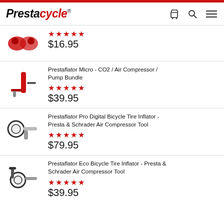Prestacycle
$16.95, 5 stars rating
Prestaflator Micro - CO2 / Air Compressor / Pump Bundle, 5 stars, $39.95
Prestaflator Pro Digital Bicycle Tire Inflator - Presta & Schrader Air Compressor Tool, 5 stars, $79.95
Prestaflator Eco Bicycle Tire Inflator - Presta & Schrader Air Compressor Tool, 5 stars, $39.95